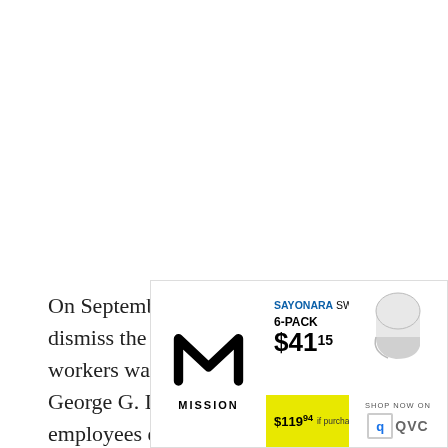On September 13, 2018, a motion to dismiss the charges against the social workers was denied. Superior Court Judge George G. Lomeli said the government employees exhibited "improper regard for human life" and "a lack of vigilance" by failing to
[Figure (other): Advertisement for Mission brand socks. SAYONARA SWEATY FEET. 6-PACK $41.15. $119.94 if purchased separately. SHOP NOW ON QVC logo.]